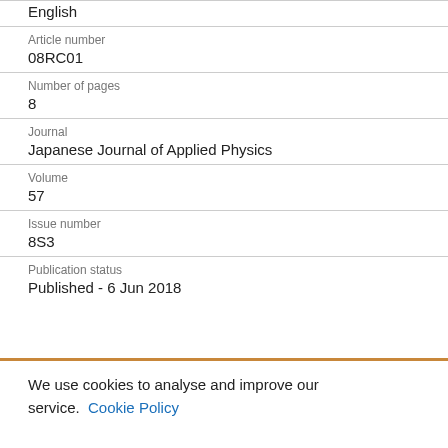English
Article number
08RC01
Number of pages
8
Journal
Japanese Journal of Applied Physics
Volume
57
Issue number
8S3
Publication status
Published - 6 Jun 2018
We use cookies to analyse and improve our service. Cookie Policy